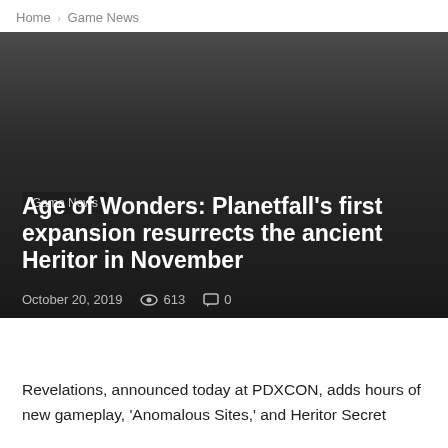Home › Game News
Game News
Age of Wonders: Planetfall's first expansion resurrects the ancient Heritor in November
October 20, 2019   613   0
Revelations, announced today at PDXCON, adds hours of new gameplay, 'Anomalous Sites,' and Heritor Secret